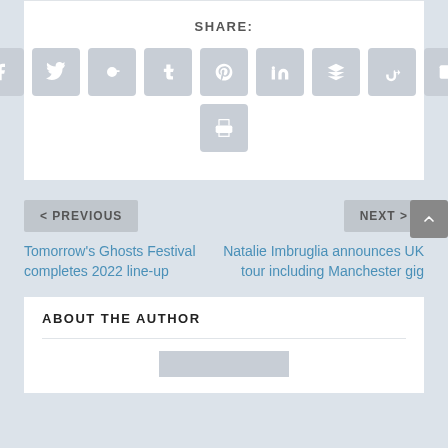SHARE:
[Figure (infographic): Row of social share icon buttons: Facebook, Twitter, Google+, Tumblr, Pinterest, LinkedIn, Buffer, StumbleUpon, Email, and a Print button below]
< PREVIOUS
NEXT >
Tomorrow's Ghosts Festival completes 2022 line-up
Natalie Imbruglia announces UK tour including Manchester gig
ABOUT THE AUTHOR